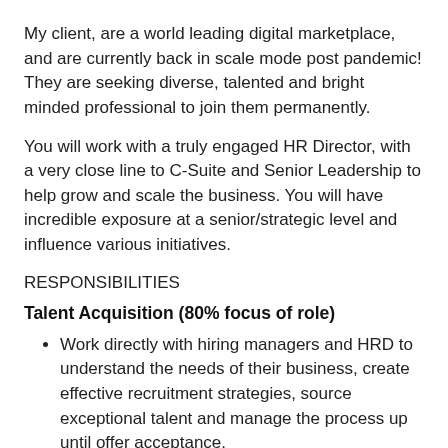My client, are a world leading digital marketplace, and are currently back in scale mode post pandemic! They are seeking diverse, talented and bright minded professional to join them permanently.
You will work with a truly engaged HR Director, with a very close line to C-Suite and Senior Leadership to help grow and scale the business. You will have incredible exposure at a senior/strategic level and influence various initiatives.
RESPONSIBILITIES
Talent Acquisition (80% focus of role)
Work directly with hiring managers and HRD to understand the needs of their business, create effective recruitment strategies, source exceptional talent and manage the process up until offer acceptance.
Deliver talent across the UK and EU across all departments with particular focus on tech.